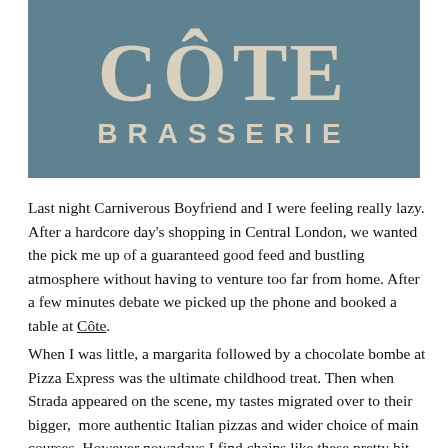[Figure (logo): Côte Brasserie logo: large text 'CÔTE' above 'BRASSERIE' in cream/beige on a teal/steel-blue background]
Last night Carniverous Boyfriend and I were feeling really lazy. After a hardcore day's shopping in Central London, we wanted the pick me up of a guaranteed good feed and bustling atmosphere without having to venture too far from home. After a few minutes debate we picked up the phone and booked a table at Côte.
When I was little, a margarita followed by a chocolate bombe at Pizza Express was the ultimate childhood treat. Then when Strada appeared on the scene, my tastes migrated over to their bigger,  more authentic Italian pizzas and wider choice of main courses. However nowadays I find chains like these pretty hit and miss; some locations serve up fairly tasty food in